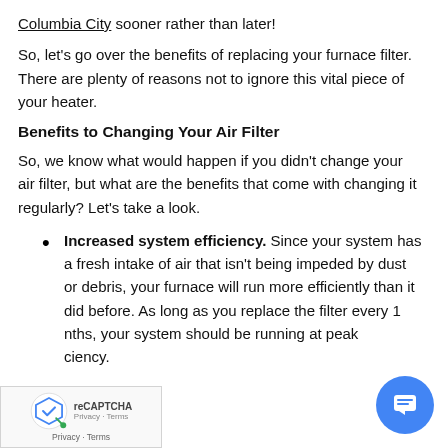Columbia City sooner rather than later!
So, let’s go over the benefits of replacing your furnace filter. There are plenty of reasons not to ignore this vital piece of your heater.
Benefits to Changing Your Air Filter
So, we know what would happen if you didn’t change your air filter, but what are the benefits that come with changing it regularly? Let’s take a look.
Increased system efficiency. Since your system has a fresh intake of air that isn’t being impeded by dust or debris, your furnace will run more efficiently than it did before. As long as you replace the filter every 1… nths, your system should be running at peak… ciency.